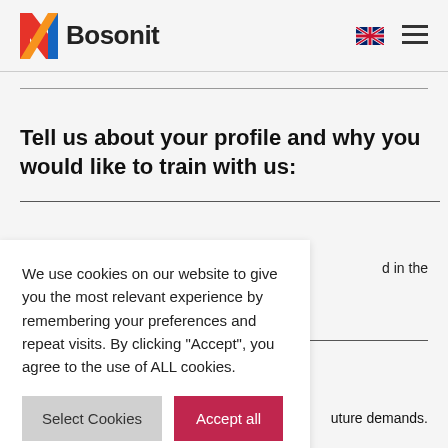Bosonit
Tell us about your profile and why you would like to train with us:
We use cookies on our website to give you the most relevant experience by remembering your preferences and repeat visits. By clicking "Accept", you agree to the use of ALL cookies.
Select Cookies / Accept all
d in the
uture demands.
What do you want to do with us training?